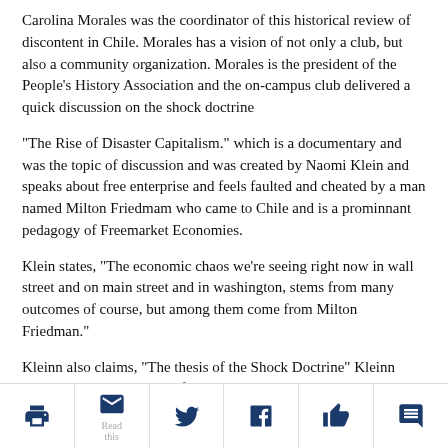Carolina Morales was the coordinator of this historical review of discontent in Chile. Morales has a vision of not only a club, but also a community organization. Morales is the president of the People's History Association and the on-campus club delivered a quick discussion on the shock doctrine
“The Rise of Disaster Capitalism.” which is a documentary and was the topic of discussion and was created by Naomi Klein and speaks about free enterprise and feels faulted and cheated by a man named Milton Friedmam who came to Chile and is a prominnant pedagogy of Freemarket Economies.
Klein states, “The economic chaos we’re seeing right now in wall street and on main street and in washington, stems from many outcomes of course, but among them come from Milton Friedman.”
Kleinn also claims, “The thesis of the Shock Doctrine” Kleinn states, “We’ve been sold a fairy tail about how these radical policies have swept the globe.”